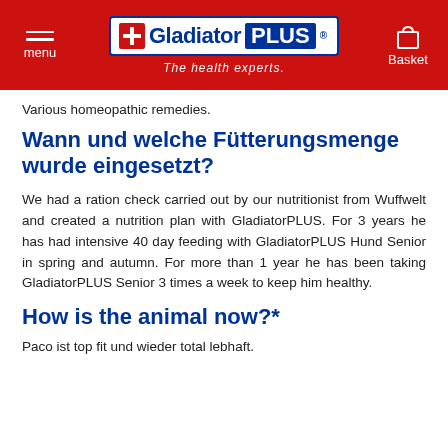menu | Gladiator PLUS® The health experts. | Basket
Various homeopathic remedies.
Wann und welche Fütterungsmenge wurde eingesetzt?
We had a ration check carried out by our nutritionist from Wuffwelt and created a nutrition plan with GladiatorPLUS. For 3 years he has had intensive 40 day feeding with GladiatorPLUS Hund Senior in spring and autumn. For more than 1 year he has been taking GladiatorPLUS Senior 3 times a week to keep him healthy.
How is the animal now?*
Paco ist top fit und wieder total lebhaft.